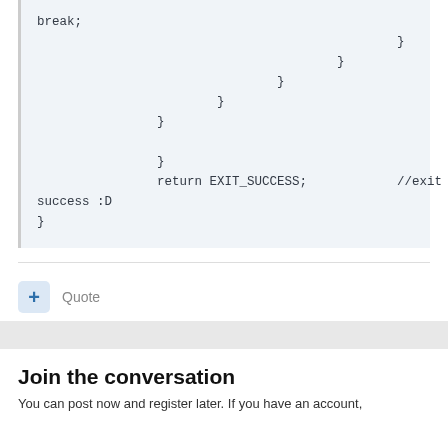break;
                                                }
                                        }
                                }
                        }
                }

                }
                return EXIT_SUCCESS;            //exit success :D
}
+ Quote
Join the conversation
You can post now and register later. If you have an account,